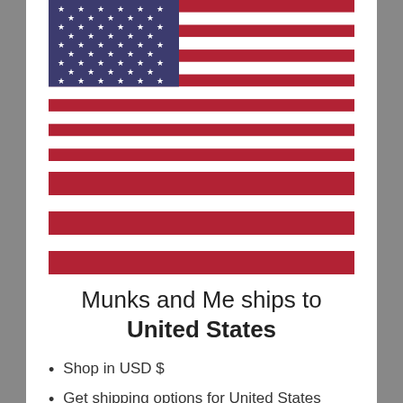[Figure (illustration): US flag - upper half showing blue canton with white stars and red/white stripes, followed by three red stripes below]
Munks and Me ships to United States
Shop in USD $
Get shipping options for United States
Shop now